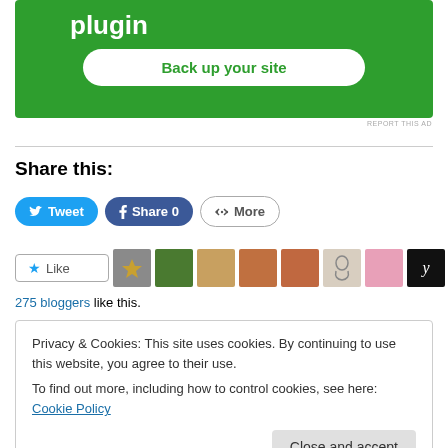[Figure (screenshot): Green advertisement banner showing 'plugin' text and 'Back up your site' button]
REPORT THIS AD
Share this:
[Figure (screenshot): Tweet, Share 0, and More social sharing buttons]
[Figure (screenshot): Like button and row of blogger avatars]
275 bloggers like this.
Privacy & Cookies: This site uses cookies. By continuing to use this website, you agree to their use.
To find out more, including how to control cookies, see here: Cookie Policy
Close and accept